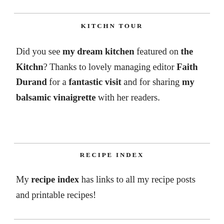KITCHN TOUR
Did you see my dream kitchen featured on the Kitchn? Thanks to lovely managing editor Faith Durand for a fantastic visit and for sharing my balsamic vinaigrette with her readers.
RECIPE INDEX
My recipe index has links to all my recipe posts and printable recipes!